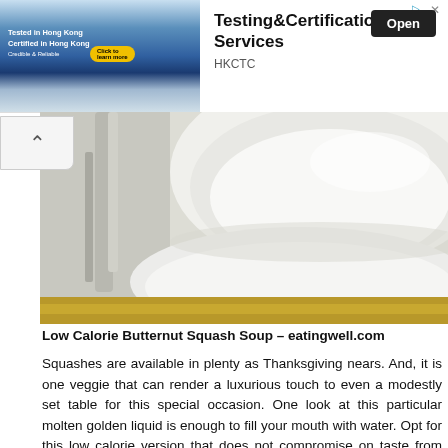[Figure (screenshot): Advertisement banner for HKCTC Testing & Certification Services with an Open button]
[Figure (photo): Close-up photo of a white bowl and plate with a yellow/golden soup, Low Calorie Butternut Squash Soup from eatingwell.com]
Low Calorie Butternut Squash Soup – eatingwell.com
Squashes are available in plenty as Thanksgiving nears. And, it is one veggie that can render a luxurious touch to even a modestly set table for this special occasion. One look at this particular molten golden liquid is enough to fill your mouth with water. Opt for this low calorie version that does not compromise on taste from any angle.